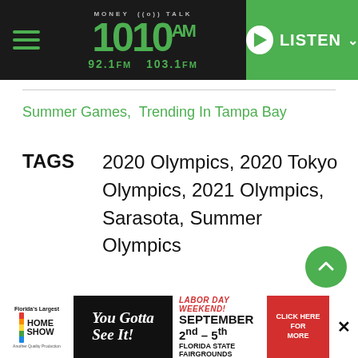[Figure (logo): Money Talk 1010 AM radio station navigation bar with hamburger menu, logo showing 1010 AM / 92.1 FM / 103.1 FM, and a green LISTEN button]
Summer Games, Trending In Tampa Bay
TAGS  2020 Olympics, 2020 Tokyo Olympics, 2021 Olympics, Sarasota, Summer Olympics
[Figure (illustration): Green circular scroll-to-top button with upward chevron arrow]
[Figure (illustration): Advertisement banner: Florida's Largest Home Show - You Gotta See It! - Labor Day Weekend! September 2nd-5th Florida State Fairgrounds - Click Here For More, with close button]